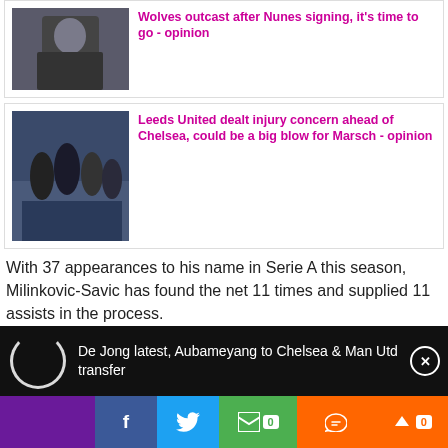[Figure (photo): Person in black jacket, cropped photo used as article thumbnail]
Wolves outcast after Nunes signing, it's time to go - opinion
[Figure (photo): Football players warming up on pitch, Leeds United]
Leeds United dealt injury concern ahead of Chelsea, could be a big blow for Marsch - opinion
With 37 appearances to his name in Serie A this season, Milinkovic-Savic has found the net 11 times and supplied 11 assists in the process.
De Jong latest, Aubameyang to Chelsea & Man Utd transfer
f
0
0